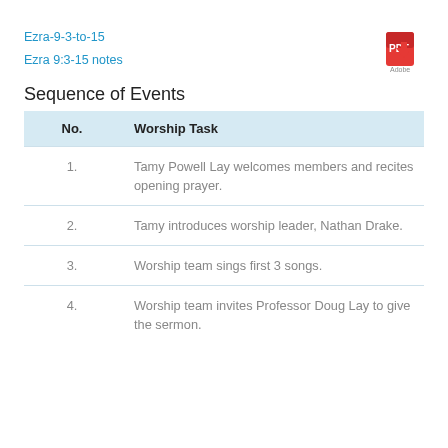Ezra-9-3-to-15
Ezra 9:3-15 notes
Sequence of Events
| No. | Worship Task |
| --- | --- |
| 1. | Tamy Powell Lay welcomes members and recites opening prayer. |
| 2. | Tamy introduces worship leader, Nathan Drake. |
| 3. | Worship team sings first 3 songs. |
| 4. | Worship team invites Professor Doug Lay to give the sermon. |